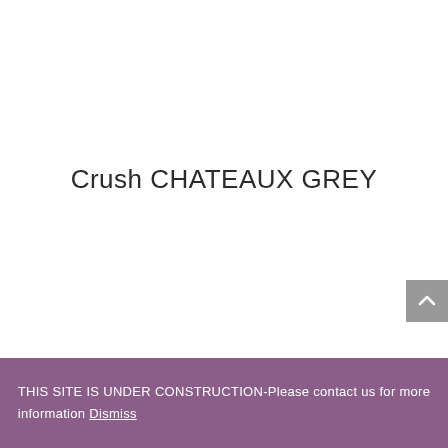Crush CHATEAUX GREY
THIS SITE IS UNDER CONSTRUCTION-Please contact us for more information Dismiss